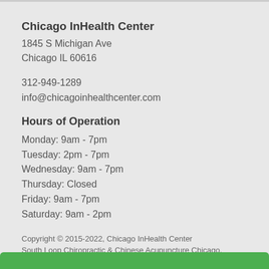Chicago InHealth Center
1845 S Michigan Ave
Chicago IL 60616
312-949-1289
info@chicagoinhealthcenter.com
Hours of Operation
Monday: 9am - 7pm
Tuesday: 2pm - 7pm
Wednesday: 9am - 7pm
Thursday: Closed
Friday: 9am - 7pm
Saturday: 9am - 2pm
Copyright © 2015-2022, Chicago InHealth Center
South Loop Chiropractic & Chinese Acupuncture Chicago.